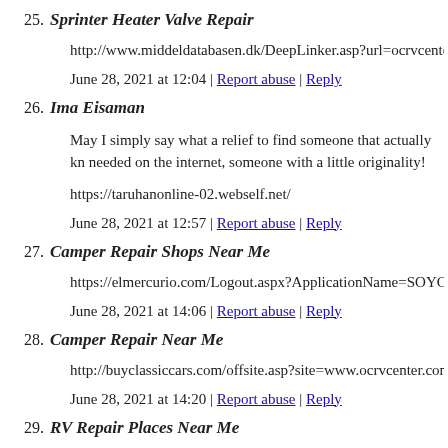25. Sprinter Heater Valve Repair
http://www.middeldatabasen.dk/DeepLinker.asp?url=ocrvcente
June 28, 2021 at 12:04 | Report abuse | Reply
26. Ima Eisaman
May I simply say what a relief to find someone that actually kn needed on the internet, someone with a little originality!
https://taruhanonline-02.webself.net/
June 28, 2021 at 12:57 | Report abuse | Reply
27. Camper Repair Shops Near Me
https://elmercurio.com/Logout.aspx?ApplicationName=SOYC
June 28, 2021 at 14:06 | Report abuse | Reply
28. Camper Repair Near Me
http://buyclassiccars.com/offsite.asp?site=www.ocrvcenter.com
June 28, 2021 at 14:20 | Report abuse | Reply
29. RV Repair Places Near Me
Way cool! Some extremely valid points! I appreciate you writi